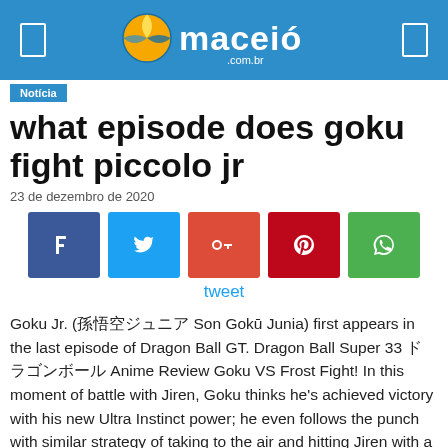Maceió .com.br
Notícia
what episode does goku fight piccolo jr
23 de dezembro de 2020
[Figure (infographic): Social share buttons: Facebook, Twitter, Google+, Pinterest, WhatsApp]
tweet
Goku Jr. (孫悟空ジュニア Son Gokū Junia) first appears in the last episode of Dragon Ball GT. Dragon Ball Super 33 ドラゴンボール Anime Review Goku VS Frost Fight! In this moment of battle with Jiren, Goku thinks he's achieved victory with his new Ultra Instinct power; he even follows the punch with similar strategy of taking to the air and hitting Jiren with a series of punches he added but